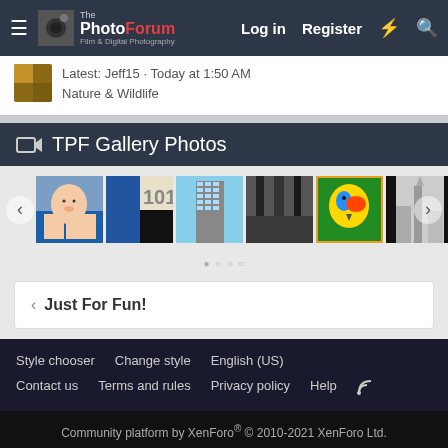The PhotoForum — Log in   Register
Latest: Jeff15 · Today at 1:50 AM
Nature & Wildlife
TPF Gallery Photos
[Figure (photo): Gallery photo strip showing 6 photos: baby, number 101, tall building, black & white forest, parrot, city skyline]
< Just For Fun!
Style chooser   Change style   English (US)
Contact us   Terms and rules   Privacy policy   Help
Community platform by XenForo® © 2010-2021 XenForo Ltd.